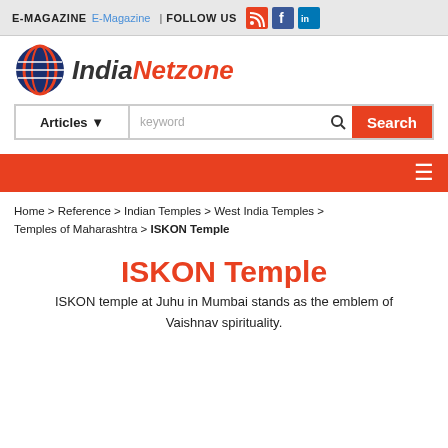E-MAGAZINE E-Magazine | FOLLOW US [RSS] [Facebook] [LinkedIn]
[Figure (logo): IndiaNetzone logo with stylized globe/lines icon and text 'IndiaNetzone' in dark/orange italic font]
Articles ▼  keyword  Search
≡
Home > Reference > Indian Temples > West India Temples > Temples of Maharashtra > ISKON Temple
ISKON Temple
ISKON temple at Juhu in Mumbai stands as the emblem of Vaishnav spirituality.